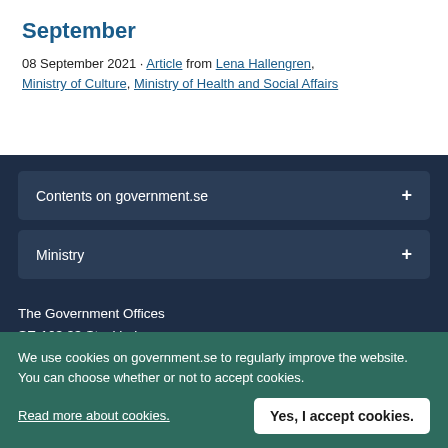September
08 September 2021 · Article from Lena Hallengren, Ministry of Culture, Ministry of Health and Social Affairs
Contents on government.se +
Ministry +
The Government Offices
SE-103 33 Stockholm
Sweden
We use cookies on government.se to regularly improve the website. You can choose whether or not to accept cookies.
Read more about cookies.
Yes, I accept cookies.